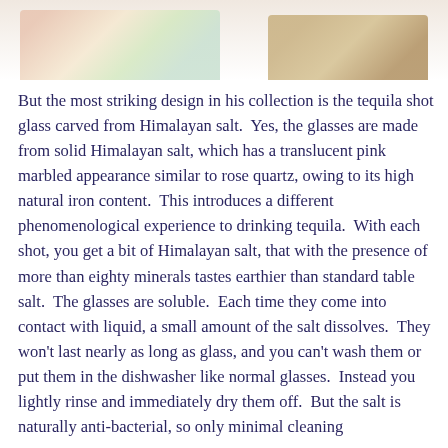[Figure (photo): Top portion of page showing food/product photos: left side shows salt blocks with lime and pink Himalayan salt, right side shows a golden/brass colored object, against white background]
But the most striking design in his collection is the tequila shot glass carved from Himalayan salt.  Yes, the glasses are made from solid Himalayan salt, which has a translucent pink marbled appearance similar to rose quartz, owing to its high natural iron content.  This introduces a different phenomenological experience to drinking tequila.  With each shot, you get a bit of Himalayan salt, that with the presence of more than eighty minerals tastes earthier than standard table salt.  The glasses are soluble.  Each time they come into contact with liquid, a small amount of the salt dissolves.  They won't last nearly as long as glass, and you can't wash them or put them in the dishwasher like normal glasses.  Instead you lightly rinse and immediately dry them off.  But the salt is naturally anti-bacterial, so only minimal cleaning